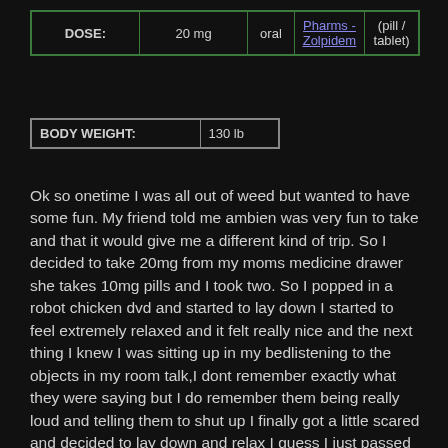| DOSE: | 20 mg | oral | Pharms - Zolpidem | (pill / tablet) |
| --- | --- | --- | --- | --- |
| BODY WEIGHT: | 130 lb |
| --- | --- |
Ok so onetime I was all out of weed but wanted to have some fun. My friend told me ambien was very fun to take and that it would give me a different kind of trip. So I decided to take 20mg from my moms medicine drawer she takes 10mg pills and I took two. So I popped in a robot chicken dvd and started to lay down I started to feel extremely relaxed and it felt really nice and the next thing I knew I was sitting up in my bedlistening to the objects in my room talk,I dont remember exactly what they were saying but I do remember them being really loud and telling them to shut up I finally got a little scared and decided to lay down and relax I guess I just passed out cause that all I remember.It really was the stranges experience I ever had.